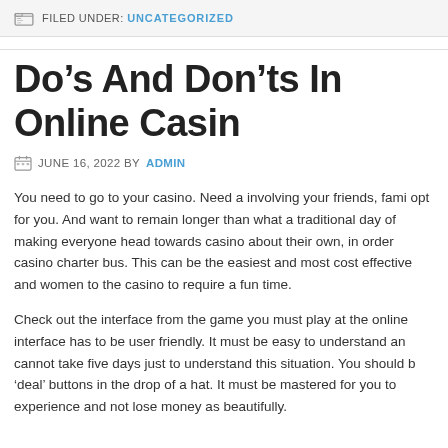FILED UNDER: UNCATEGORIZED
Do’s And Don’ts In Online Casin
JUNE 16, 2022 BY ADMIN
You need to go to your casino. Need a involving your friends, fami opt for you. And want to remain longer than what a traditional day of making everyone head towards casino about their own, in order casino charter bus. This can be the easiest and most cost effective and women to the casino to require a fun time.
Check out the interface from the game you must play at the online interface has to be user friendly. It must be easy to understand an cannot take five days just to understand this situation. You should b ‘deal’ buttons in the drop of a hat. It must be mastered for you to experience and not lose money as beautifully.